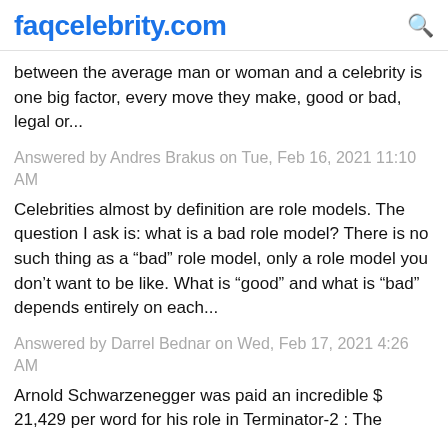faqcelebrity.com
between the average man or woman and a celebrity is one big factor, every move they make, good or bad, legal or...
Answered by Andres Brakus on Tue, Feb 16, 2021 11:10 AM
Celebrities almost by definition are role models. The question I ask is: what is a bad role model? There is no such thing as a “bad” role model, only a role model you don’t want to be like. What is “good” and what is “bad” depends entirely on each...
Answered by Darrel Bednar on Wed, Feb 17, 2021 4:26 AM
Arnold Schwarzenegger was paid an incredible $ 21,429 per word for his role in Terminator-2 : The